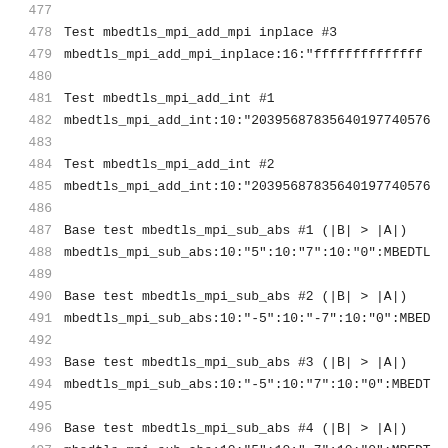477
478    Test mbedtls_mpi_add_mpi inplace #3
479    mbedtls_mpi_add_mpi_inplace:16:"ffffffffffffff
480
481    Test mbedtls_mpi_add_int #1
482    mbedtls_mpi_add_int:10:"203956878356401977405676
483
484    Test mbedtls_mpi_add_int #2
485    mbedtls_mpi_add_int:10:"203956878356401977405676
486
487    Base test mbedtls_mpi_sub_abs #1 (|B| > |A|)
488    mbedtls_mpi_sub_abs:10:"5":10:"7":10:"0":MBEDTL
489
490    Base test mbedtls_mpi_sub_abs #2 (|B| > |A|)
491    mbedtls_mpi_sub_abs:10:"-5":10:"-7":10:"0":MBED
492
493    Base test mbedtls_mpi_sub_abs #3 (|B| > |A|)
494    mbedtls_mpi_sub_abs:10:"-5":10:"7":10:"0":MBEDT
495
496    Base test mbedtls_mpi_sub_abs #4 (|B| > |A|)
497    mbedtls_mpi_sub_abs:10:"5":10:"-7":10:"0":MBEDT
498